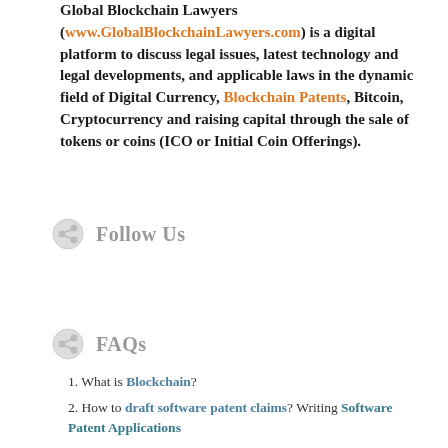Global Blockchain Lawyers (www.GlobalBlockchainLawyers.com) is a digital platform to discuss legal issues, latest technology and legal developments, and applicable laws in the dynamic field of Digital Currency, Blockchain Patents, Bitcoin, Cryptocurrency and raising capital through the sale of tokens or coins (ICO or Initial Coin Offerings).
Follow Us
FAQs
What is Blockchain?
How to draft software patent claims? Writing Software Patent Applications